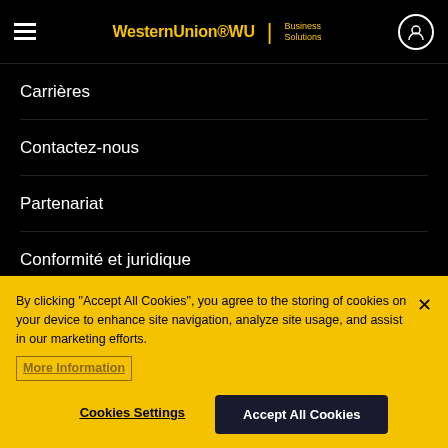Western Union WU Business Solutions
Carrières
Contactez-nous
Partenariat
Conformité et juridique
Choisissez votre pays
France
By clicking "Accept All Cookies", you agree to the storing of cookies on your device to enhance site navigation, analyze site usage, and assist in our marketing efforts. More Information
Cookies Settings
Accept All Cookies